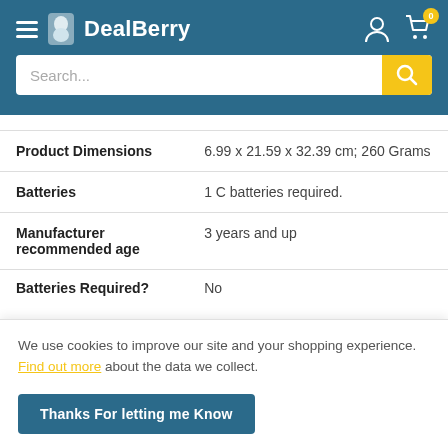DealBerry — Search bar header with hamburger menu, logo, user icon, cart icon
| Attribute | Value |
| --- | --- |
| Product Dimensions | 6.99 x 21.59 x 32.39 cm; 260 Grams |
| Batteries | 1 C batteries required. |
| Manufacturer recommended age | 3 years and up |
| Batteries Required? | No |
We use cookies to improve our site and your shopping experience. Find out more about the data we collect.
Thanks For letting me Know